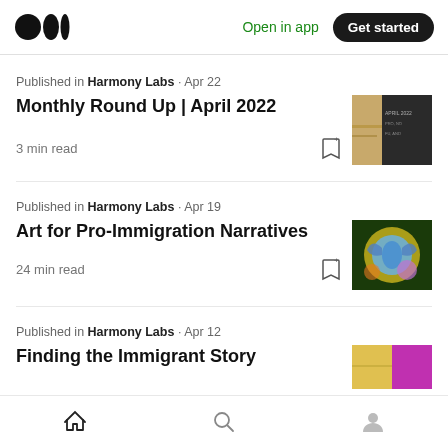Medium logo | Open in app | Get started
Published in Harmony Labs · Apr 22
Monthly Round Up | April 2022
3 min read
[Figure (photo): Thumbnail image for Monthly Round Up article, showing a wooden surface and a dark book cover with text]
Published in Harmony Labs · Apr 19
Art for Pro-Immigration Narratives
24 min read
[Figure (photo): Thumbnail image showing a blue butterfly on colorful flowers]
Published in Harmony Labs · Apr 12
Finding the Immigrant Story
[Figure (photo): Partial thumbnail image with yellow and magenta colors]
Home | Search | Profile navigation icons